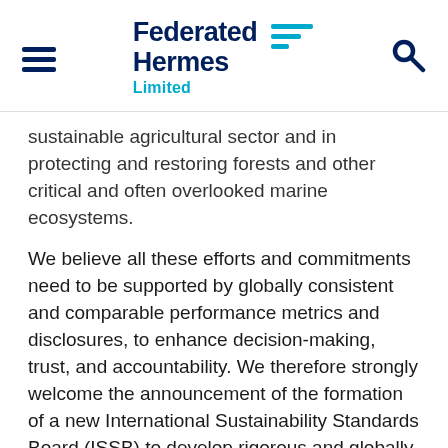Federated Hermes Limited
sustainable agricultural sector and in protecting and restoring forests and other critical and often overlooked marine ecosystems.
We believe all these efforts and commitments need to be supported by globally consistent and comparable performance metrics and disclosures, to enhance decision-making, trust, and accountability. We therefore strongly welcome the announcement of the formation of a new International Sustainability Standards Board (ISSB) to develop rigorous and globally accepted standards for sustainability reporting that can be adopted worldwide, so that sustainability related risks and opportunities can be appropriately assessed by investors. Going forward, we hope the ISSB will expand beyond its initial focus on enterprise value to embrace the concept of double materiality and examine how climate risks connect with a